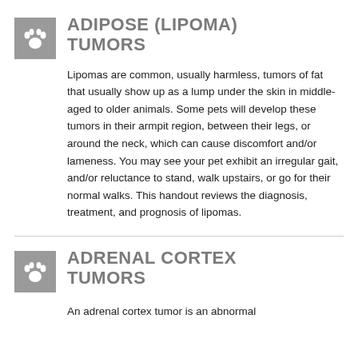ADIPOSE (LIPOMA) TUMORS
Lipomas are common, usually harmless, tumors of fat that usually show up as a lump under the skin in middle-aged to older animals. Some pets will develop these tumors in their armpit region, between their legs, or around the neck, which can cause discomfort and/or lameness. You may see your pet exhibit an irregular gait, and/or reluctance to stand, walk upstairs, or go for their normal walks. This handout reviews the diagnosis, treatment, and prognosis of lipomas.
ADRENAL CORTEX TUMORS
An adrenal cortex tumor is an abnormal